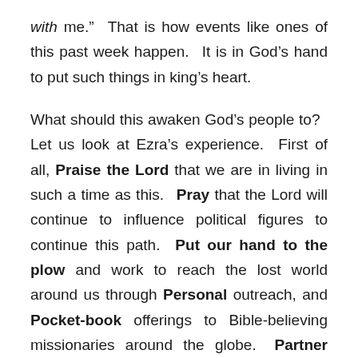with me.”  That is how events like ones of this past week happen.  It is in God’s hand to put such things in king’s heart.
What should this awaken God’s people to?  Let us look at Ezra’s experience.  First of all, Praise the Lord that we are in living in such a time as this.  Pray that the Lord will continue to influence political figures to continue this path.  Put our hand to the plow and work to reach the lost world around us through Personal outreach, and Pocket-book offerings to Bible-believing missionaries around the globe.  Partner with others who will fulfill the Great